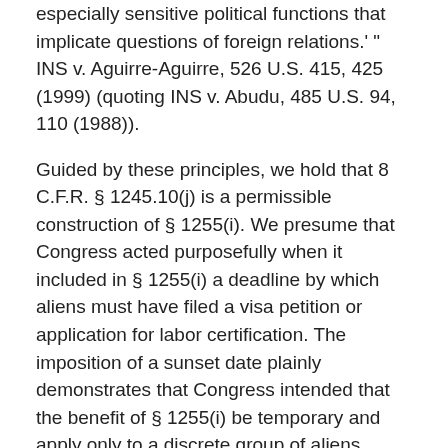especially sensitive political functions that implicate questions of foreign relations.' " INS v. Aguirre-Aguirre, 526 U.S. 415, 425 (1999) (quoting INS v. Abudu, 485 U.S. 94, 110 (1988)).
Guided by these principles, we hold that 8 C.F.R. § 1245.10(j) is a permissible construction of § 1255(i). We presume that Congress acted purposefully when it included in § 1255(i) a deadline by which aliens must have filed a visa petition or application for labor certification. The imposition of a sunset date plainly demonstrates that Congress intended that the benefit of § 1255(i) be temporary and apply only to a discrete group of aliens whose applications were pending on April 30, 2001. That intent would be frustrated if an alien substituted many years later as the beneficiary of an application for labor certification could nonetheless take advantage of the expired provision for adjustment of status.6 Thus, confronted with the question whether §